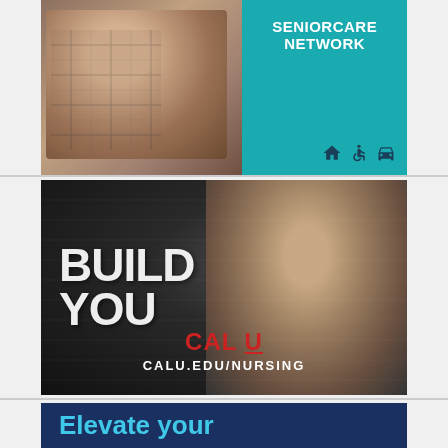[Figure (photo): Advertisement for Presbyterian SeniorCare Network. Left side shows an elderly woman being hugged. Right teal background displays text 'SENIORCARE NETWORK' with accessibility icons (housing, wheelchair, car) at bottom right.]
[Figure (photo): Advertisement for Cal U Nursing program on dark/chalkboard background. Large chalk-style text 'BUILD YOU' on left. A female nurse in blue scrubs with stethoscope on right. Bottom center shows 'CAL U' in red and white block letters and 'CALU.EDU/NURSING' in white bold text.]
[Figure (photo): Partial advertisement with dark navy blue background showing large cyan/light-blue bold text 'Elevate your' — the rest of the ad is cut off at the bottom of the page.]